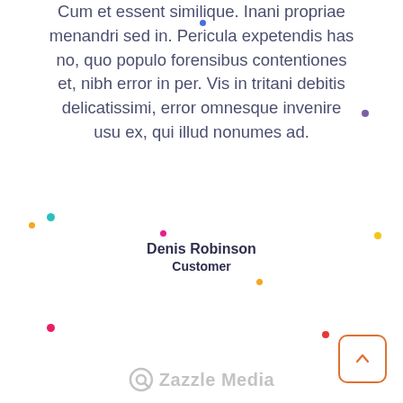Cum et essent similique. Inani propriae menandri sed in. Pericula expetendis has no, quo populo forensibus contentiones et, nibh error in per. Vis in tritani debitis delicatissimi, error omnesque invenire usu ex, qui illud nonumes ad.
Denis Robinson
Customer
[Figure (logo): Zazzle Media logo with circular Q icon and text]